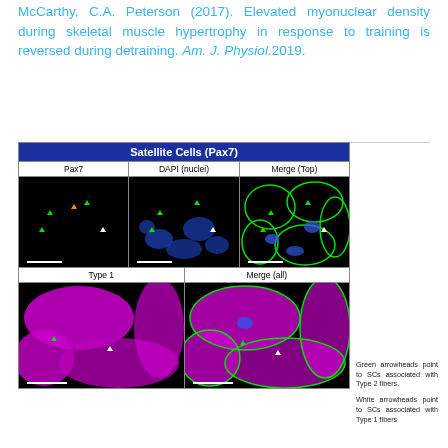McCarthy, C.A. Peterson (2017). Elevated myonuclear density during skeletal muscle hypertrophy in response to training is reversed during detraining. Am. J. Physiol.2019.
[Figure (photo): Fluorescence microscopy composite showing Satellite Cells (Pax7) with 5 panels: Pax7 channel (black background, green and orange arrowheads), DAPI/nuclei channel (black background, blue nuclei, green arrowheads), Merge Top (cell borders in green, blue nuclei, arrowheads), Type 1 channel (magenta/pink fiber staining, green and white arrowheads), Merge all (combined green borders, magenta fibers, blue nuclei, arrowheads). Legend: Green arrowheads point to SCs associated with Type 2 fibers; White arrowheads point to SCs associated with Type 1 fibers.]